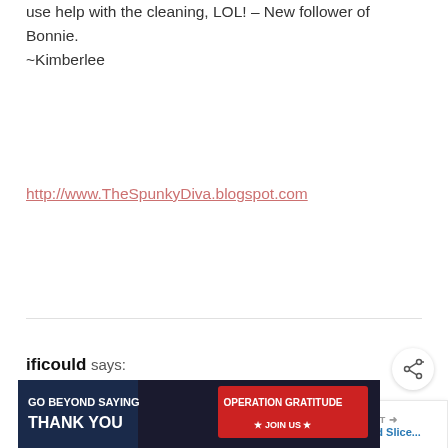use help with the cleaning, LOL! – New follower of Bonnie.
~Kimberlee
http://www.TheSpunkyDiva.blogspot.com
Reply
ificould says:
August 27, 2010 at 1:39 am
I would love to try out the Clean Water filtration system.
[Figure (other): What's Next promotional box showing Rustic Wood Slice thumbnail]
[Figure (other): GO BEYOND SAYING THANK YOU – Operation Gratitude advertisement banner]